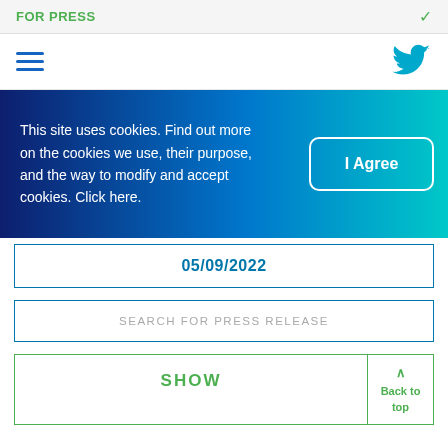FOR PRESS
[Figure (screenshot): Hamburger menu icon (three horizontal blue lines) on the left and Twitter bird icon (teal) on the right in a navigation bar]
This site uses cookies. Find out more on the cookies we use, their purpose, and the way to modify and accept cookies. Click here.
I Agree
05/09/2022
SEARCH FOR PRESS RELEASE
SHOW
Back to top